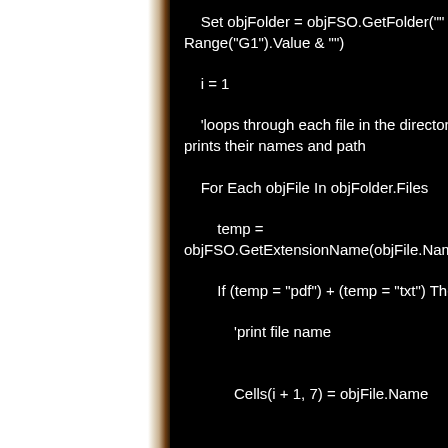[Figure (photo): City skyline at night photo on left and right sides, with black code area in center]
Set objFolder = objFSO.GetFolder("" & Range("G1").Value & "")

    i = 1

    'loops through each file in the directory and prints their names and path

    For Each objFile In objFolder.Files

        temp = objFSO.GetExtensionName(objFile.Name)

        If (temp = "pdf") + (temp = "txt") Then

            'print file name

            Cells(i + 1, 7) = objFile.Name